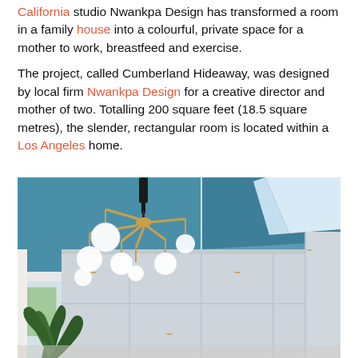California studio Nwankpa Design has transformed a room in a family house into a colourful, private space for a mother to work, breastfeed and exercise.
The project, called Cumberland Hideaway, was designed by local firm Nwankpa Design for a creative director and mother of two. Totalling 200 square feet (18.5 square metres), the slender, rectangular room is located within a Los Angeles home.
[Figure (photo): Interior photo of the Cumberland Hideaway room showing a blue vaulted ceiling with skylight, modern bubble chandelier with brass arms and globe lights, light grey built-in cabinets along the walls, a window with green foliage outside, and a plant in the lower foreground.]